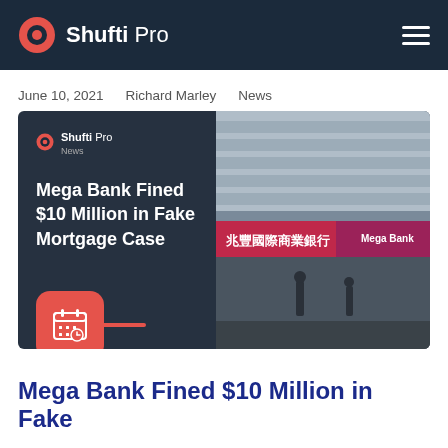Shufti Pro
June 10, 2021   Richard Marley   News
[Figure (photo): Shufti Pro News article card showing 'Mega Bank Fined $10 Million in Fake Mortgage Case' headline overlaid on a photo of the Mega Bank (兆豐國際商業銀行) building exterior with red signage]
Mega Bank Fined $10 Million in Fake